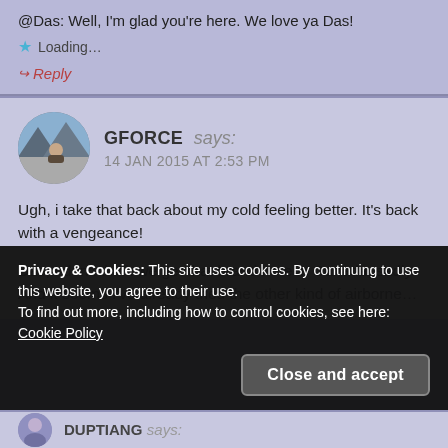@Das: Well, I'm glad you're here. We love ya Das!
Loading...
Reply
GFORCE says: 14 JAN 2015 AT 2:53 PM
Ugh, i take that back about my cold feeling better. It's back with a vengeance!
Das, I don't think we get that brand here in Canada, sadly. And it seems I've already tried the other kind of airborne...
Privacy & Cookies: This site uses cookies. By continuing to use this website, you agree to their use. To find out more, including how to control cookies, see here: Cookie Policy
Close and accept
DUPTIANG says: